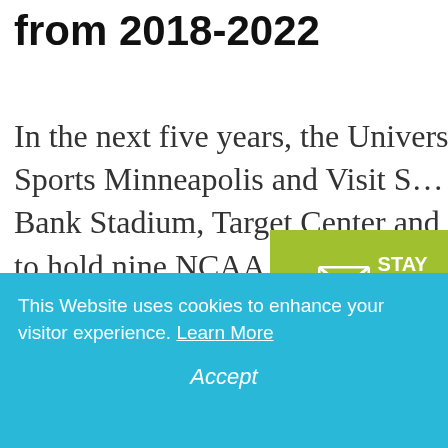from 2018-2022
In the next five years, the University of Minnesota, Sports Minneapolis and Visit S… will partner with US Bank Stadium, Target Center and Xcel Energy Center to hold nine NCAA championships in the Twin Cities
[Figure (infographic): Green badge with envelope icon and text STAY UP TO DATE]
This Website uses cookies to enhance your visitor experience. Learn More
Accept